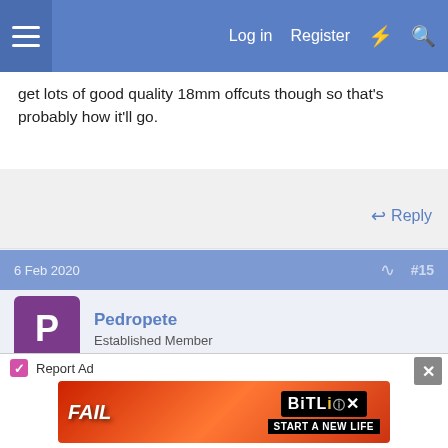Log in  Register
get lots of good quality 18mm offcuts though so that's probably how it'll go.
Reply
6 Feb 2020  #15
Pedropete
Established Member
Doug71":2x7obmac said:
I keep one of these in my van for cutting on site, couldn't make it for less and works really well
https://www.cncdesign.co.uk/portable-wo ... ywood.html
[Figure (screenshot): BitLife advertisement banner - FAIL image with BitLife logo and 'START A NEW LIFE' tagline]
Report Ad